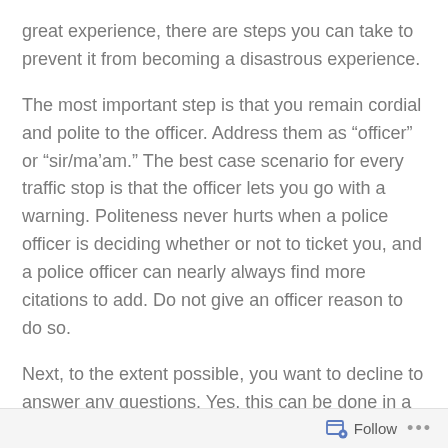great experience, there are steps you can take to prevent it from becoming a disastrous experience.
The most important step is that you remain cordial and polite to the officer. Address them as “officer” or “sir/ma’am.” The best case scenario for every traffic stop is that the officer lets you go with a warning. Politeness never hurts when a police officer is deciding whether or not to ticket you, and a police officer can nearly always find more citations to add. Do not give an officer reason to do so.
Next, to the extent possible, you want to decline to answer any questions. Yes, this can be done in a polite manner. You are required to give your driver’s license and proof of insurance when you are pulled over, but you are not required to answer questions. Almost immediately an
Follow •••